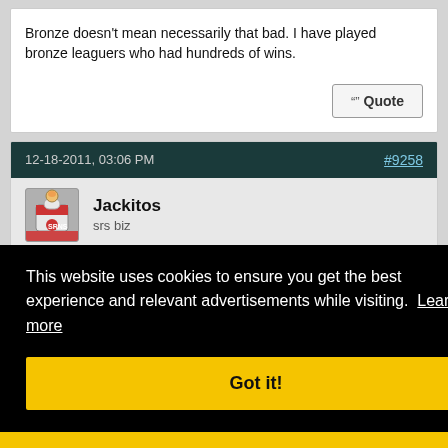Bronze doesn't mean necessarily that bad. I have played bronze leaguers who had hundreds of wins.
Quote
12-18-2011, 03:06 PM
#9258
Jackitos
srs biz
Quote:
This website uses cookies to ensure you get the best experience and relevant advertisements while visiting.  Learn more
Got it!